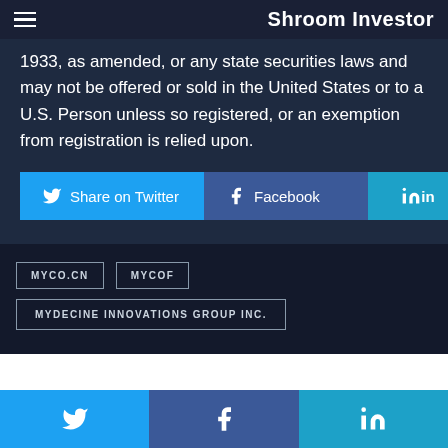Shroom Investor
1933, as amended, or any state securities laws and may not be offered or sold in the United States or to a U.S. Person unless so registered, or an exemption from registration is relied upon.
[Figure (infographic): Three social share buttons: Share on Twitter (cyan), Facebook (dark blue), LinkedIn (cyan/blue)]
MYCO.CN   MYCOF
MYDECINE INNOVATIONS GROUP INC.
[Figure (infographic): Footer social share bar with Twitter, Facebook, and LinkedIn icons]